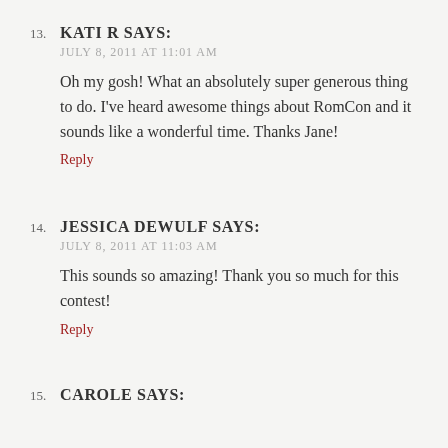13. KATI R SAYS:
JULY 8, 2011 AT 11:01 AM
Oh my gosh! What an absolutely super generous thing to do. I've heard awesome things about RomCon and it sounds like a wonderful time. Thanks Jane!
Reply
14. JESSICA DEWULF SAYS:
JULY 8, 2011 AT 11:03 AM
This sounds so amazing! Thank you so much for this contest!
Reply
15. CAROLE SAYS: